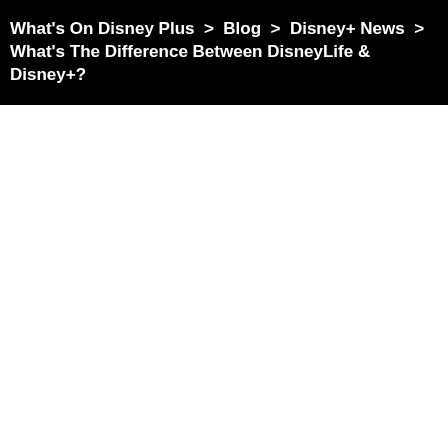What's On Disney Plus  >  Blog  >  Disney+ News  >  What's The Difference Between DisneyLife & Disney+?